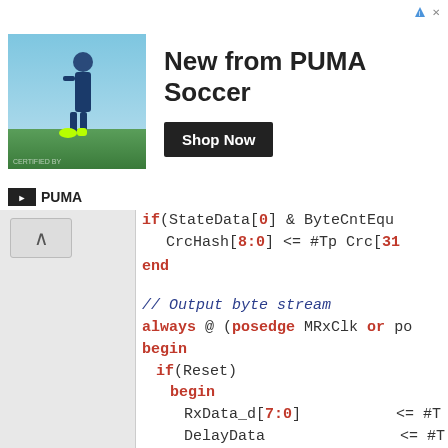[Figure (other): PUMA Soccer advertisement banner with player image, 'New from PUMA Soccer' headline, 'Shop Now' button, and PUMA logo]
if(StateData[0] & ByteCntEq... CrcHash[8:0] <= #Tp Crc[31...
end
// Output byte stream
always @ (posedge MRxClk or po...
begin
  if(Reset)
    begin
      RxData_d[7:0]      <= #T
      DelayData          <= #T
      LatchedNibble[3:0] <= #T
      LatchedByte[7:0]   <= #T
      RxData[7:0]        <= #T
    end
  else
    begin
      LatchedNibble[3:0] <= #T
      LatchedByte[7:0]   <= #T
      DelayData          <= #T